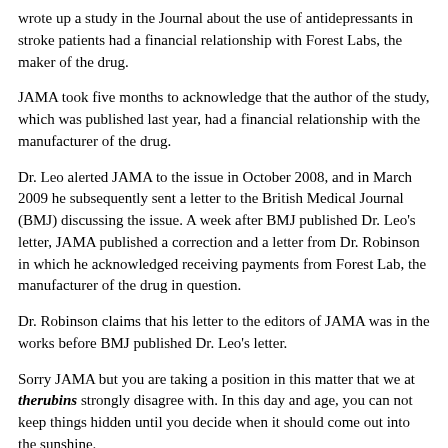wrote up a study in the Journal about the use of antidepressants in stroke patients had a financial relationship with Forest Labs, the maker of the drug.
JAMA took five months to acknowledge that the author of the study, which was published last year, had a financial relationship with the manufacturer of the drug.
Dr. Leo alerted JAMA to the issue in October 2008, and in March 2009 he subsequently sent a letter to the British Medical Journal (BMJ) discussing the issue. A week after BMJ published Dr. Leo's letter, JAMA published a correction and a letter from Dr. Robinson in which he acknowledged receiving payments from Forest Lab, the manufacturer of the drug in question.
Dr. Robinson claims that his letter to the editors of JAMA was in the works before BMJ published Dr. Leo's letter.
Sorry JAMA but you are taking a position in this matter that we at therubins strongly disagree with. In this day and age, you can not keep things hidden until you decide when it should come out into the sunshine.
(3/11/09)- Senator Charles Grassley, the ranking Republican on the Senate Finance Committee sent a letter to Pfizer Inc. asking the pharmaceutical company to provide details of its payments to at